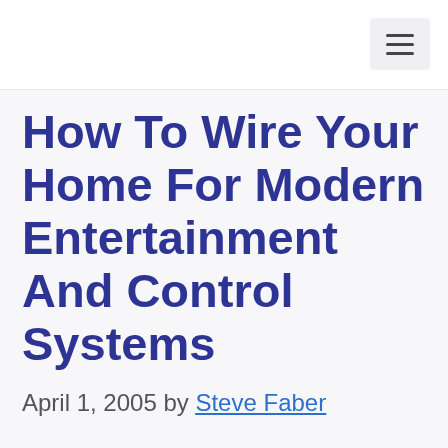How To Wire Your Home For Modern Entertainment And Control Systems
April 1, 2005 by Steve Faber